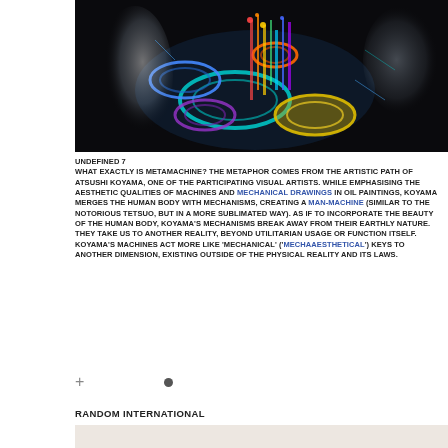[Figure (illustration): Digital artwork showing a dark background with a human figure merged with exploded mechanical/gear components in vivid colors (blue, teal, orange, yellow, purple), with a ghostly face on the right side.]
UNDEFINED 7
WHAT EXACTLY IS METAMACHINE? THE METAPHOR COMES FROM THE ARTISTIC PATH OF ATSUSHI KOYAMA, ONE OF THE PARTICIPATING VISUAL ARTISTS. WHILE EMPHASISING THE AESTHETIC QUALITIES OF MACHINES AND MECHANICAL DRAWINGS IN OIL PAINTINGS, KOYAMA MERGES THE HUMAN BODY WITH MECHANISMS, CREATING A MAN-MACHINE (SIMILAR TO THE NOTORIOUS TETSUO, BUT IN A MORE SUBLIMATED WAY). AS IF TO INCORPORATE THE BEAUTY OF THE HUMAN BODY, KOYAMA'S MECHANISMS BREAK AWAY FROM THEIR EARTHLY NATURE. THEY TAKE US TO ANOTHER REALITY, BEYOND UTILITARIAN USAGE OR FUNCTION ITSELF. KOYAMA'S MACHINES ACT MORE LIKE 'MECHANICAL' ('MECHAAESTHETICAL') KEYS TO ANOTHER DIMENSION, EXISTING OUTSIDE OF THE PHYSICAL REALITY AND ITS LAWS.
RANDOM INTERNATIONAL